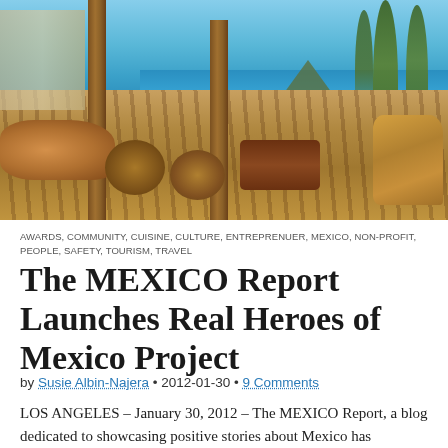[Figure (photo): Outdoor terrace restaurant or lounge area with wicker furniture, wooden columns, shadow patterns on tiled floor, overlooking a beach with turquoise water, palm trees, and thatched umbrellas in the background]
AWARDS, COMMUNITY, CUISINE, CULTURE, ENTREPRENUER, MEXICO, NON-PROFIT, PEOPLE, SAFETY, TOURISM, TRAVEL
The MEXICO Report Launches Real Heroes of Mexico Project
by Susie Albin-Najera • 2012-01-30 • 9 Comments
LOS ANGELES  – January 30, 2012 – The MEXICO Report, a blog dedicated to showcasing positive stories about Mexico has launched its Real Heroes of Mexico project. The effort will